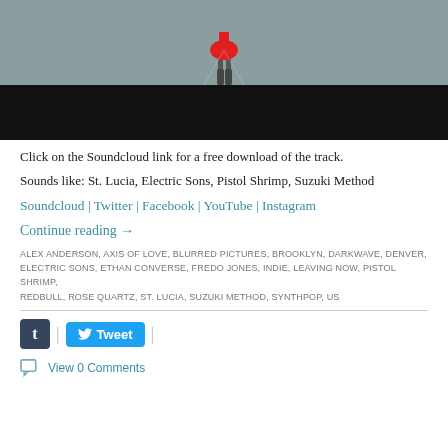[Figure (photo): Person in red outfit walking on pavement, lower portion of photo is black/dark area]
Click on the Soundcloud link for a free download of the track.
Sounds like: St. Lucia, Electric Sons, Pistol Shrimp, Suzuki Method
Soundcloud | Twitter | Facebook | YouTube | Instagram
Continue reading →
ALEX ANDERSON, AXIS OF LOVE, BLURRED PICTURES, BROOKLYN, DARKWAVE, DENVER, ELECTRIC SONS, ETHAN CONVERSE, FREDO JONES, INDIE, LEAVING NOW, PISTOL SHRIMP, REDBULL, ROSE QUARTZ, ST. LUCIA, SUZUKI METHOD, SYNTHPOP, US